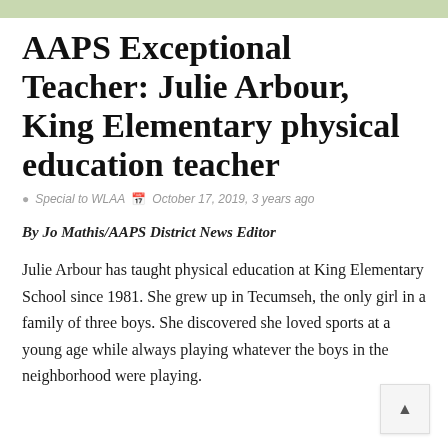[Figure (photo): Top image strip showing partial photo, likely outdoor or nature scene]
AAPS Exceptional Teacher: Julie Arbour, King Elementary physical education teacher
Special to WLAA  October 17, 2019, 3 years ago
By Jo Mathis/AAPS District News Editor
Julie Arbour has taught physical education at King Elementary School since 1981. She grew up in Tecumseh, the only girl in a family of three boys. She discovered she loved sports at a young age while always playing whatever the boys in the neighborhood were playing.